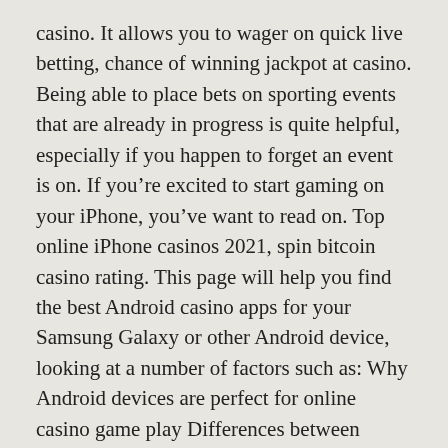casino. It allows you to wager on quick live betting, chance of winning jackpot at casino. Being able to place bets on sporting events that are already in progress is quite helpful, especially if you happen to forget an event is on. If you're excited to start gaming on your iPhone, you've want to read on. Top online iPhone casinos 2021, spin bitcoin casino rating. This page will help you find the best Android casino apps for your Samsung Galaxy or other Android device, looking at a number of factors such as: Why Android devices are perfect for online casino game play Differences between Android casinos and PC versions Best Android casino apps available in New Zealand Biggest welcome bonuses, digi deal printer offline slot machine. Best online Casinos For October 2021. Not all countries allow mobile and online casinos, reedstag no deposit casino bonus codes 2022. There are